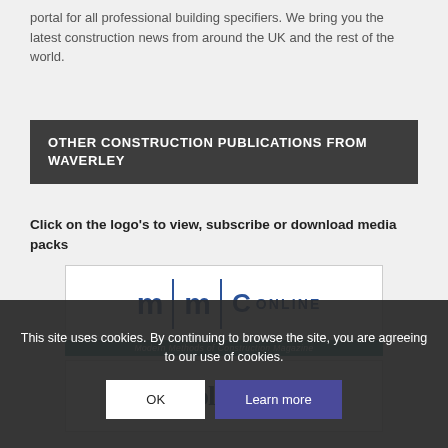portal for all professional building specifiers. We bring you the latest construction news from around the UK and the rest of the world.
OTHER CONSTRUCTION PUBLICATIONS FROM WAVERLEY
Click on the logo's to view, subscribe or download media packs
[Figure (logo): MMC Online logo — block letters m|m|C ONLINE in blue with dividing lines]
Modern Methods of Construction Magazine
[Figure (logo): Schoolbuilding logo — large blue serif text 'Schoolbuilding']
Construction News for the Educational Sector
This site uses cookies. By continuing to browse the site, you are agreeing to our use of cookies.